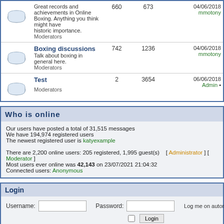|  | Forum | Topics | Posts | Last post |
| --- | --- | --- | --- | --- |
| [icon] | Great records and achievements in Online Boxing. Anything you think might have historic importance.
Moderators | 660 | 673 | 04/06/2018
mmotony |
| [icon] | Boxing discussions
Talk about boxing in general here.
Moderators | 742 | 1236 | 04/06/2018
mmotony |
| [icon] | Test
Moderators | 2 | 3654 | 06/06/2018
Admin |
Who is online
Our users have posted a total of 31,515 messages
We have 194,974 registered users
The newest registered user is katyexample

There are 2,200 online users: 205 registered, 1,995 guest(s)    [ Administrator ] [ Moderator ]
Most users ever online was 42,143 on 23/07/2021 21:04:32
Connected users: Anonymous
Login
Username: [input] Password: [input] Log me on automatically each [checkbox] Login
New Messages    No new messages    Blocked Forum
Powered by JForum 2.1.8 © JForum Team